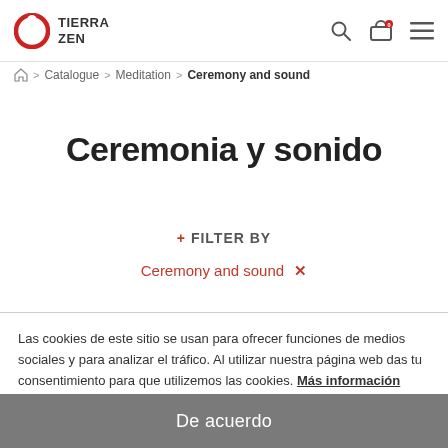TIERRA ZEN
Catalogue > Meditation > Ceremony and sound
Ceremonia y sonido
+ FILTER BY
Ceremony and sound ✕
Las cookies de este sitio se usan para ofrecer funciones de medios sociales y para analizar el tráfico. Al utilizar nuestra página web das tu consentimiento para que utilizemos las cookies. Más información
De acuerdo